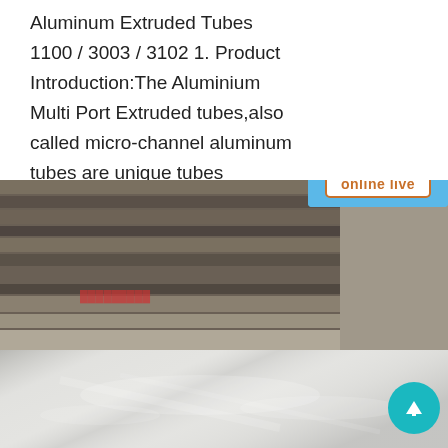Aluminum Extruded Tubes 1100 / 3003 / 3102 1. Product Introduction:The Aluminium Multi Port Extruded tubes,also called micro-channel aluminum tubes are unique tubes developed with highly refined manufacturing quality.
[Figure (photo): Photo of stacked aluminum/metal sheets and plates in a warehouse or factory setting, showing metallic surfaces with reflective sheen. In the bottom portion, a polished aluminum sheet is visible with light reflections.]
[Figure (screenshot): Live chat widget overlay showing '24/7 Online' header, a customer service representative photo (woman with headset), 'PROVIDE SUPPORT® Empowering Customer Service' branding, and an 'online live' button. A blue Chinese text tab on the left reads '在线咨询' (online consultation).]